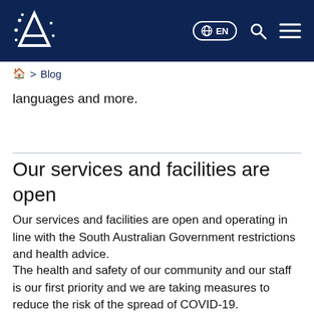AITI logo | EN | Search | Menu
> Blog
languages and more.
Our services and facilities are open
Our services and facilities are open and operating in line with the South Australian Government restrictions and health advice.
The health and safety of our community and our staff is our first priority and we are taking measures to reduce the risk of the spread of COVID-19.